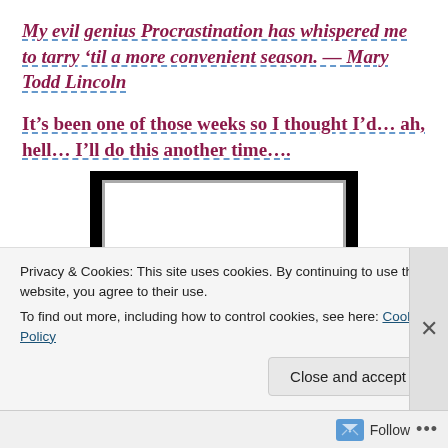My evil genius Procrastination has whispered me to tarry ‘til a more convenient season. — Mary Todd Lincoln
It’s been one of those weeks so I thought I’d… ah, hell… I’ll do this another time….
[Figure (screenshot): A black rectangle containing a white framed inner rectangle, resembling a video player with blank/empty content.]
Privacy & Cookies: This site uses cookies. By continuing to use this website, you agree to their use.
To find out more, including how to control cookies, see here: Cookie Policy
Close and accept
Follow